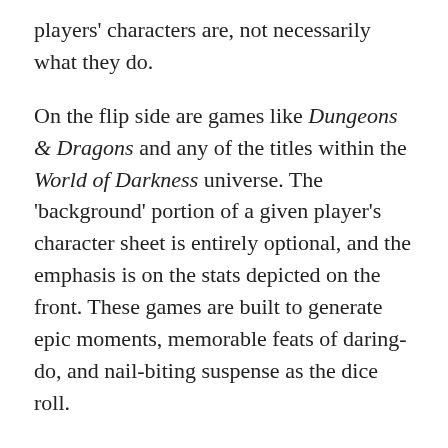players' characters are, not necessarily what they do.
On the flip side are games like Dungeons & Dragons and any of the titles within the World of Darkness universe. The 'background' portion of a given player's character sheet is entirely optional, and the emphasis is on the stats depicted on the front. These games are built to generate epic moments, memorable feats of daring-do, and nail-biting suspense as the dice roll.
And then, there are those games with what I'd like to call 'emergent storytelling'. Quite a few board games try to work atmosphere and elements of storytelling into their gameplay, like Pandemic, Elder Sign, or Escape!, but the nature of these games' mechanics tend to get in the way of actually telling a story. Boss Monster and Seasons, on the other hand, give players enough breathing room to